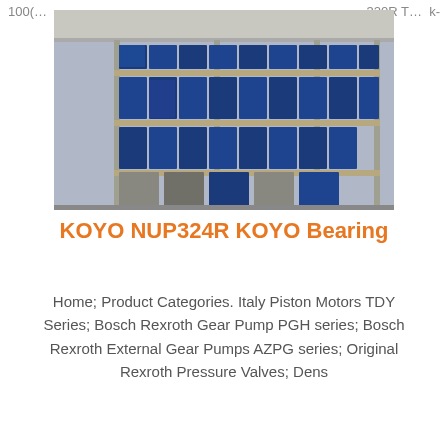100(… 320R T… k-
[Figure (photo): Warehouse shelves stocked with blue boxed bearing products]
KOYO NUP324R KOYO Bearing
Home; Product Categories. Italy Piston Motors TDY Series; Bosch Rexroth Gear Pump PGH series; Bosch Rexroth External Gear Pumps AZPG series; Original Rexroth Pressure Valves; Dens